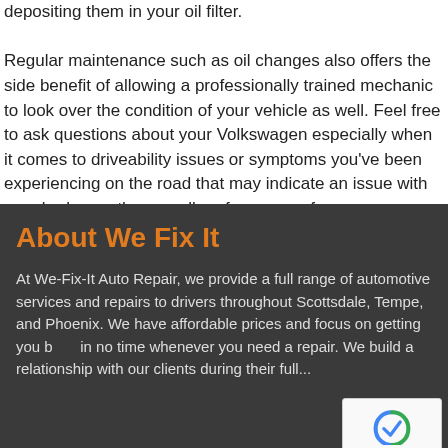depositing them in your oil filter. Regular maintenance such as oil changes also offers the side benefit of allowing a professionally trained mechanic to look over the condition of your vehicle as well. Feel free to ask questions about your Volkswagen especially when it comes to driveability issues or symptoms you've been experiencing on the road that may indicate an issue with your brakes or the overall performance of your Volkswagen. We are here to help at We Fix It Auto Repair.
About We Fix It
At We-Fix-It Auto Repair, we provide a full range of automotive services and repairs to drivers throughout Scottsdale, Tempe, and Phoenix. We have affordable prices and focus on getting you back in no time whenever you need a repair. We build a relationship with our clients during their full...